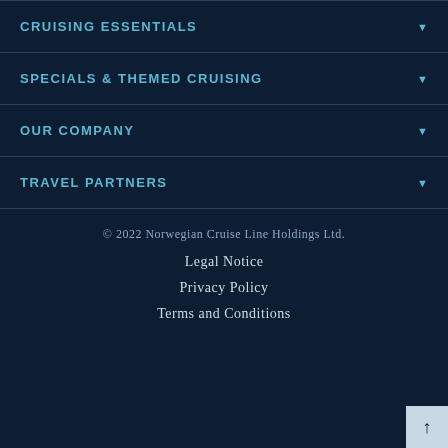CRUISING ESSENTIALS
SPECIALS & THEMED CRUISING
OUR COMPANY
TRAVEL PARTNERS
© 2022 Norwegian Cruise Line Holdings Ltd.
Legal Notice
Privacy Policy
Terms and Conditions